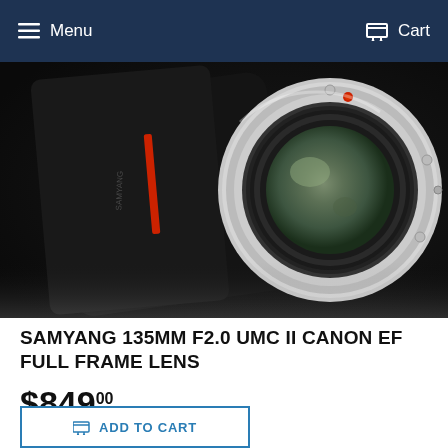Menu   Cart
[Figure (photo): Close-up photo of the Samyang 135mm F2.0 UMC II Canon EF Full Frame Lens, showing the rear lens mount with silver bayonet ring, green-tinted glass elements, and black lens barrel with red accent ring and carbon fiber texture pattern. The lens is photographed at an angle against a white/light background.]
SAMYANG 135MM F2.0 UMC II CANON EF FULL FRAME LENS
$849.00
ADD TO CART